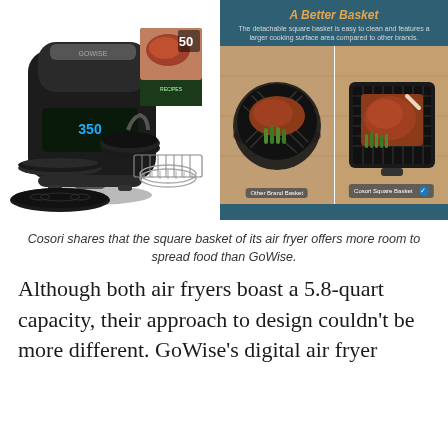[Figure (photo): Left: GoWise air fryer with accessories (baking pan, rack, silicone mat) and a recipe book showing '50 Recipes'. Right: Cosori 'A Better Basket' promotional panel comparing a round 'Other Brand Basket' vs 'Cosori Square Basket' with food (steak and asparagus) on wooden cutting boards.]
Cosori shares that the square basket of its air fryer offers more room to spread food than GoWise.
Although both air fryers boast a 5.8-quart capacity, their approach to design couldn't be more different. GoWise's digital air fryer